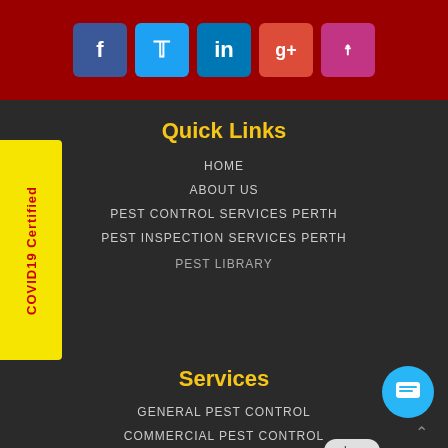[Figure (screenshot): Social media buttons row: Facebook (blue), Twitter (light blue), LinkedIn (blue), Google+ (red), Instagram (pink) on dark red background]
Quick Links
HOME
ABOUT US
PEST CONTROL SERVICES PERTH
PEST INSPECTION SERVICES PERTH
PEST LIBRARY
[Figure (screenshot): COVID19 Certified yellow vertical badge on left side]
[Figure (screenshot): Chat popup with avatar photo of man and text: Speak to a Pest Control expert right now.. Text here. Close button visible.]
Services
GENERAL PEST CONTROL
COMMERCIAL PEST CONTROL